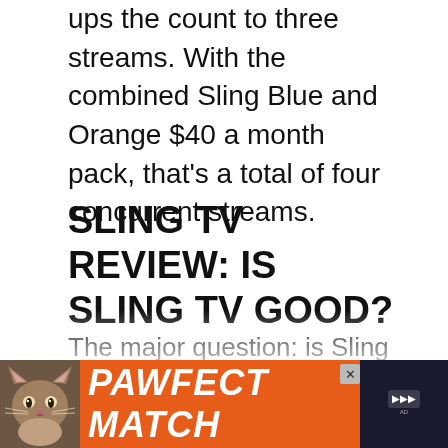ups the count to three streams. With the combined Sling Blue and Orange $40 a month pack, that's a total of four concurrent streams.
SLING TV REVIEW: IS SLING TV GOOD?
The major question: is Sling TV good? This depends on your needs. Sling Orange and Sling Blue individually clock in at sub-$30 a month. Even the combo slides in under $50 a month. However, as you begin tacking on extras like HBO, Showtime, and Sling
[Figure (other): Advertisement banner for 'PAWFECT MATCH' featuring a cat photo on the left, bold italic white text on orange background, close button, and dark right panel with small icons]